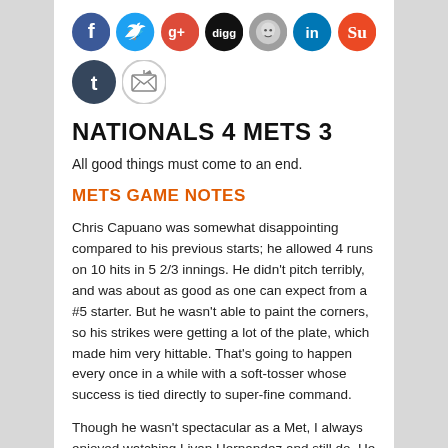[Figure (infographic): Row of social media sharing icons: Facebook, Twitter, Google+, Digg, Reddit, LinkedIn, StumbleUpon, Tumblr, Email]
NATIONALS 4 METS 3
All good things must come to an end.
METS GAME NOTES
Chris Capuano was somewhat disappointing compared to his previous starts; he allowed 4 runs on 10 hits in 5 2/3 innings. He didn't pitch terribly, and was about as good as one can expect from a #5 starter. But he wasn't able to paint the corners, so his strikes were getting a lot of the plate, which made him very hittable. That's going to happen every once in a while with a soft-tosser whose success is tied directly to super-fine command.
Though he wasn't spectacular as a Met, I always enjoyed watching Livan Hernandez and still do. He has absolutely nothing — just pure slop — and somehow finds a way to